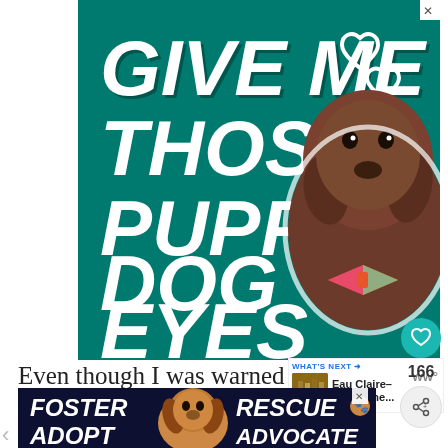[Figure (illustration): Advertisement banner with teal/dark green background showing a brindle dog wearing a colorful bow tie. Large bold italic white text reads 'GIVE ME THOSE PUPPY DOG EYES' with heart outlines on the right side. Close X button in top right corner.]
166
Even though I was warned to cooler, windy weather, I still under
[Figure (infographic): WHAT'S NEXT panel showing 'Eau Claire- Kids Zone...' with a thumbnail image.]
[Figure (illustration): Bottom advertisement banner with dark navy background showing text 'FOSTER ADOPT' on left and 'RESCUE ADVOCATE' on right with a beagle dog image in the center. Close button visible.]